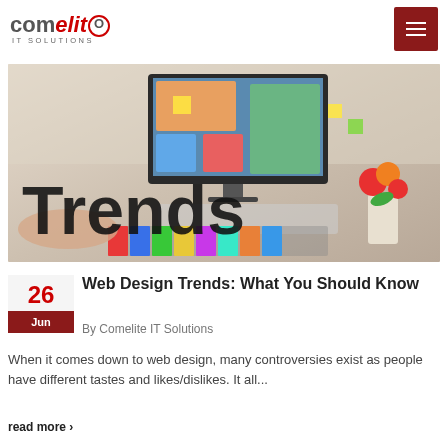comelite IT SOLUTIONS
As we near the end of 2018, I would like a look back to our 20...
read more >
[Figure (photo): A workspace photo showing a computer with design elements on screen, tulips, color swatches, with large text overlay reading 'Trends']
Web Design Trends: What You Should Know
By Comelite IT Solutions
When it comes down to web design, many controversies exist as people have different tastes and likes/dislikes. It all...
read more >